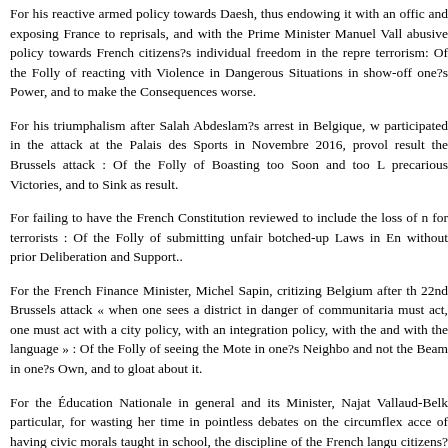For his reactive armed policy towards Daesh, thus endowing it with an offic and exposing France to reprisals, and with the Prime Minister Manuel Vall abusive policy towards French citizens?s individual freedom in the repre terrorism: Of the Folly of reacting vith Violence in Dangerous Situations in show-off one?s Power, and to make the Consequences worse.
For his triumphalism after Salah Abdeslam?s arrest in Belgique, w participated in the attack at the Palais des Sports in Novembre 2016, provol result the Brussels attack : Of the Folly of Boasting too Soon and too L precarious Victories, and to Sink as result.
For failing to have the French Constitution reviewed to include the loss of n for terrorists : Of the Folly of submitting unfair botched-up Laws in En without prior Deliberation and Support..
For the French Finance Minister, Michel Sapin, critizing Belgium after th 22nd Brussels attack « when one sees a district in danger of communitaria must act, one must act with a city policy, with an integration policy, with the and with the language » : Of the Folly of seeing the Mote in one?s Neighbo and not the Beam in one?s Own, and to gloat about it.
For the Éducation Nationale in general and its Minister, Najat Vallaud-Belk particular, for wasting her time in pointless debates on the circumflex acce of having civic morals taught in school, the discipline of the French langu citizens? identity heritage. The loss of syntax and text analysis, which fe structure of the French language and of its discursive power has result continued deterioration. It has now been replaced by an incomprehensible k gibberish : Of the Folly of speaking in Tongues and not the Tongue a